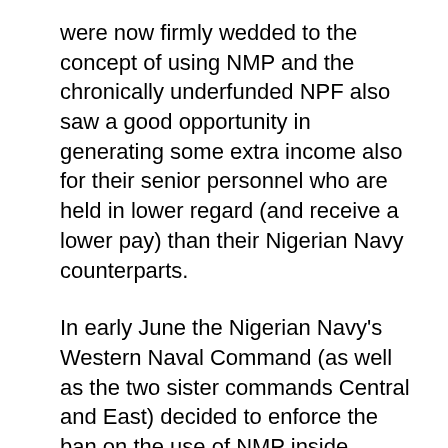were now firmly wedded to the concept of using NMP and the chronically underfunded NPF also saw a good opportunity in generating some extra income also for their senior personnel who are held in lower regard (and receive a lower pay) than their Nigerian Navy counterparts.
In early June the Nigerian Navy’s Western Naval Command (as well as the two sister commands Central and East) decided to enforce the ban on the use of NMP inside Nigerian territorial waters as directed earlier by the Chief of Naval Staff. Confusingly, the general assertion of authority by the Navy which includes the EEZ (which is part of the Navy’s jurisdiction) was interpreted to imply that the Navy would also enforce this ban on NMP outside territorial waters, which would be in